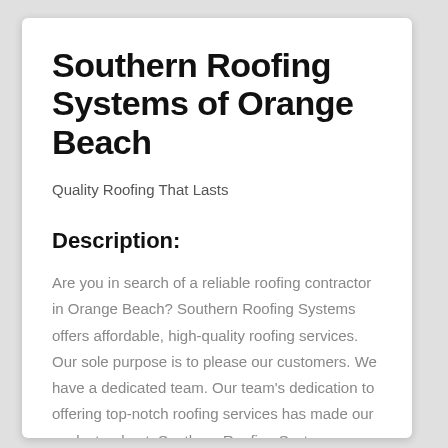Southern Roofing Systems of Orange Beach
Quality Roofing That Lasts
Description:
Are you in search of a reliable roofing contractor in Orange Beach? Southern Roofing Systems offers affordable, high-quality roofing services. Our sole purpose is to please our customers. We have a dedicated team. Our team's dedication to offering top-notch roofing services has made our work stand out. Southern Roofing Systems delivers services on time